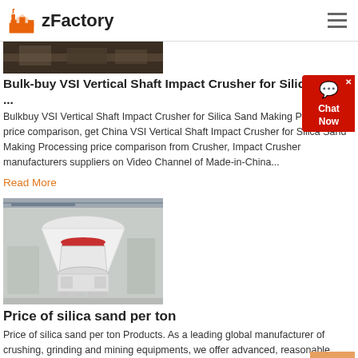zFactory
[Figure (photo): Industrial machinery/crusher equipment - dark photo strip]
Bulk-buy VSI Vertical Shaft Impact Crusher for Silica Sand ...
Bulkbuy VSI Vertical Shaft Impact Crusher for Silica Sand Making Processing price comparison, get China VSI Vertical Shaft Impact Crusher for Silica Sand Making Processing price comparison from Crusher, Impact Crusher manufacturers suppliers on Video Channel of Made-in-China...
Read More
[Figure (photo): Large white industrial cone crusher machine in a factory setting]
Price of silica sand per ton
Price of silica sand per ton Products. As a leading global manufacturer of crushing, grinding and mining equipments, we offer advanced, reasonable solutions for any size-reduction requirements including, Price of silica sand per ton, quarry, aggregate, and different kinds of minerals